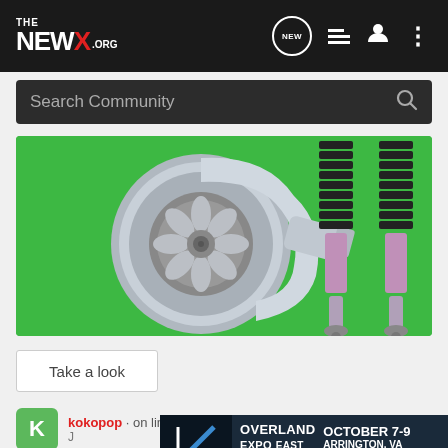THE NEW X .ORG
Search Community
[Figure (illustration): Green background with a chrome turbocharger on the left and two purple/black coilover shock absorbers on the right]
Take a look
kokopop · on line
[Figure (other): Overland Expo East 2022 advertisement banner: October 7-9, Arrington, VA. Plan Your Adventure.]